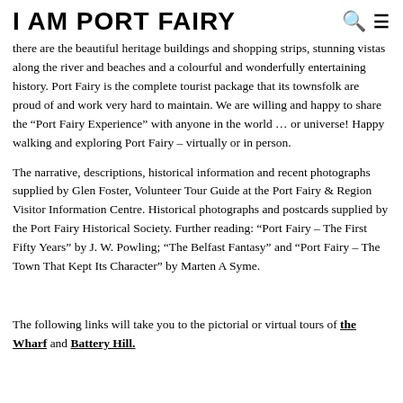I AM PORT FAIRY
there are the beautiful heritage buildings and shopping strips, stunning vistas along the river and beaches and a colourful and wonderfully entertaining history. Port Fairy is the complete tourist package that its townsfolk are proud of and work very hard to maintain. We are willing and happy to share the “Port Fairy Experience” with anyone in the world … or universe! Happy walking and exploring Port Fairy – virtually or in person.
The narrative, descriptions, historical information and recent photographs supplied by Glen Foster, Volunteer Tour Guide at the Port Fairy & Region Visitor Information Centre. Historical photographs and postcards supplied by the Port Fairy Historical Society. Further reading: “Port Fairy – The First Fifty Years” by J. W. Powling; “The Belfast Fantasy” and “Port Fairy – The Town That Kept Its Character” by Marten A Syme.
The following links will take you to the pictorial or virtual tours of the Wharf and Battery Hill.